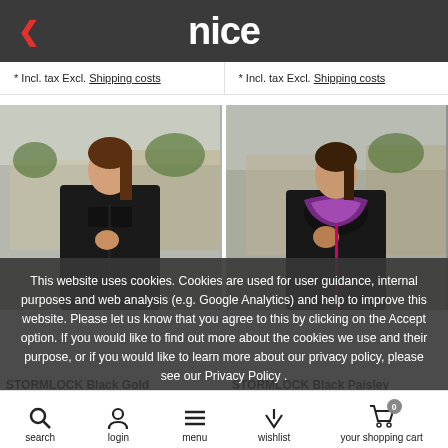nice
* Incl. tax Excl. Shipping costs
* Incl. tax Excl. Shipping costs
[Figure (photo): Woman wearing black softshell jacket, outdoor setting]
[Figure (photo): Woman wearing black softshell jacket with colorful hood lining, outdoor setting]
This website uses cookies. Cookies are used for user guidance, internal purposes and web analysis (e.g. Google Analytics) and help to improve this website. Please let us know that you agree to this by clicking on the Accept option. If you would like to find out more about the cookies we use and their purpose, or if you would like to learn more about our privacy policy, please see our Privacy Policy .
Accept
Reject
More on cookies »
STORMLOCK Black Gold
STORMLOCK Black Paisley
search  login  menu  wishlist  your shopping cart